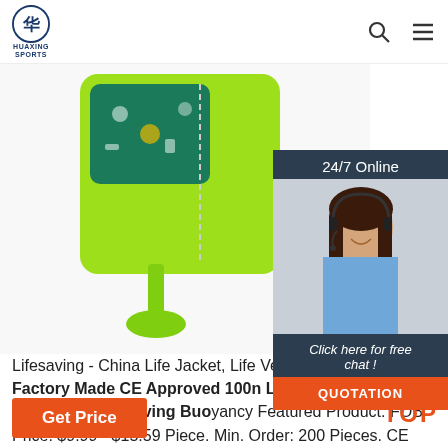HUAXING SPORTS
[Figure (photo): Product photo of a green children's life jacket/safety vest with teal patterned padding, shown against white background]
[Figure (photo): 24/7 Online chat widget showing a female customer service agent wearing a headset, with 'Click here for free chat!' text and QUOTATION button]
Lifesaving - China Life Jacket, Life Vest Manufacturers ...
Factory Made CE Approved 100n Life Safety Vest Lifejacket Life Saving Buoyancy Featured Product. FOB Price: $9.99 - $15.59 Piece. Min. Order: 200 Pieces. CE ISO12402-5 approved 50N water sports safety vest Product information Product details Our factory: 1, Workshops: 2, Our ...
Get Price
TOP